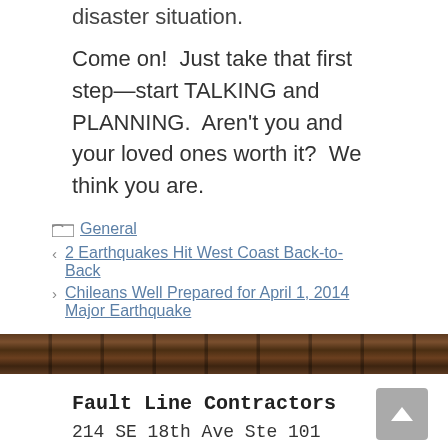disaster situation.
Come on!  Just take that first step—start TALKING and PLANNING.  Aren't you and your loved ones worth it?  We think you are.
General
2 Earthquakes Hit West Coast Back-to-Back
Chileans Well Prepared for April 1, 2014 Major Earthquake
[Figure (photo): Decorative wood plank bar divider]
Fault Line Contractors
214 SE 18th Ave Ste 101
Portland, Oregon 97214